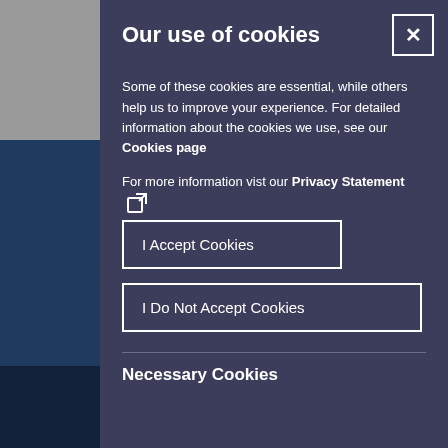Our use of cookies
Some of these cookies are essential, while others help us to improve your experience. For detailed information about the cookies we use, see our Cookies page
For more information vist our Privacy Statement [external link icon]
I Accept Cookies
I Do Not Accept Cookies
Necessary Cookies